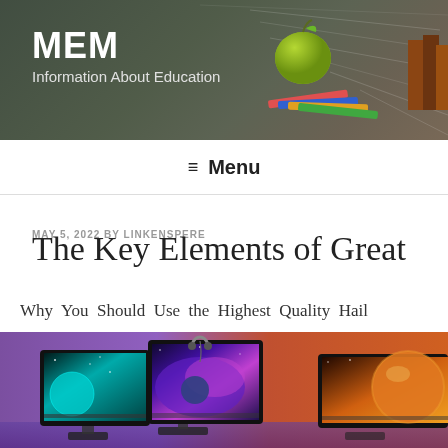MEM
Information About Education
≡ Menu
MAY 5, 2022 BY LINKENSPERE
The Key Elements of Great
Why You Should Use the Highest Quality Hail
[Figure (photo): Three curved ultrawide gaming monitors side by side displaying space/planet scenes, with a headset hanging on the middle monitor, set on a desk with purple and orange ambient lighting]